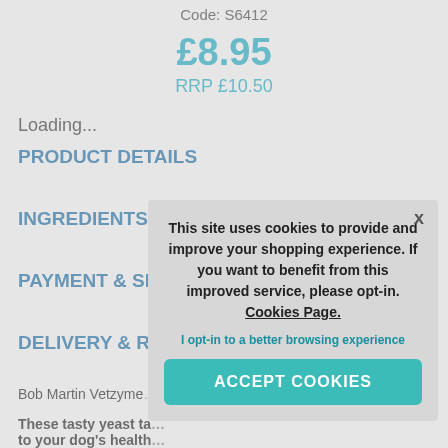Code: S6412
£8.95
RRP £10.50
Loading...
PRODUCT DETAILS
INGREDIENTS
PAYMENT & SE...
DELIVERY & R...
Bob Martin Vetzyme...
These tasty yeast ta... to your dog's health...
[Figure (screenshot): Cookie consent overlay popup with text: 'This site uses cookies to provide and improve your shopping experience. If you want to benefit from this improved service, please opt-in. Cookies Page.' and opt-in link 'I opt-in to a better browsing experience' and button 'ACCEPT COOKIES']